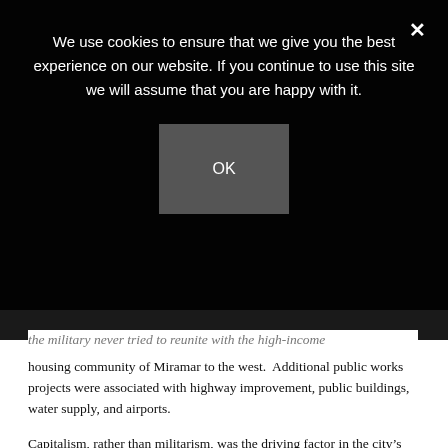We use cookies to ensure that we give you the best experience on our website. If you continue to use this site we will assume that you are happy with it.
OK
the military never tried to reunite with the high-income housing community of Miramar to the west. Additional public works projects were associated with highway improvement, public buildings, water supply, and airports.
Capitalism, rather than militarism, was the driving factor in the city’s relationship with external actors. On the domestic scene, however, the situation was different.
The urban underground centered at the University of Havana organized opposition forces in the city and eventually confronted the Cuban regular military, supplied, in part, by the American superpower. Through this vehicle,